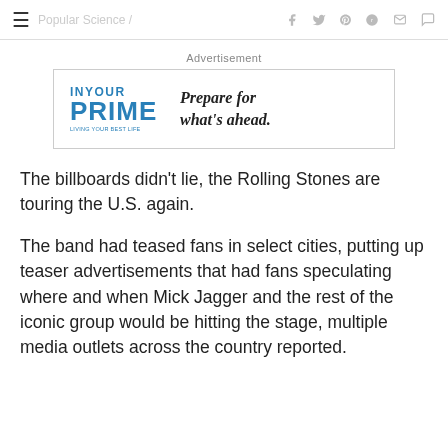≡ [site name] f  𝕿  𝗽  ⬤  ✉  💬
Advertisement
[Figure (other): IN YOUR PRIME — LIVING YOUR BEST LIFE advertisement with text: Prepare for what's ahead.]
The billboards didn't lie, the Rolling Stones are touring the U.S. again.
The band had teased fans in select cities, putting up teaser advertisements that had fans speculating where and when Mick Jagger and the rest of the iconic group would be hitting the stage, multiple media outlets across the country reported.